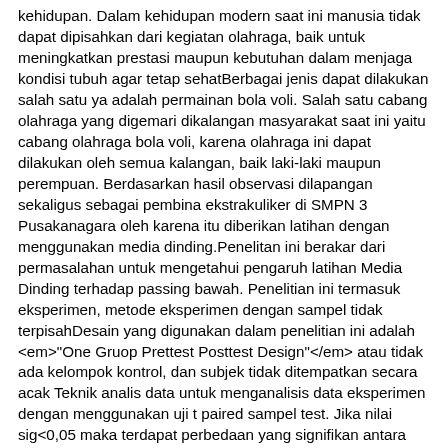kehidupan. Dalam kehidupan modern saat ini manusia tidak dapat dipisahkan dari kegiatan olahraga, baik untuk meningkatkan prestasi maupun kebutuhan dalam menjaga kondisi tubuh agar tetap sehatBerbagai jenis dapat dilakukan salah satu ya adalah permainan bola voli. Salah satu cabang olahraga yang digemari dikalangan masyarakat saat ini yaitu cabang olahraga bola voli, karena olahraga ini dapat dilakukan oleh semua kalangan, baik laki-laki maupun perempuan. Berdasarkan hasil observasi dilapangan sekaligus sebagai pembina ekstrakuliker di SMPN 3 Pusakanagara oleh karena itu diberikan latihan dengan menggunakan media dinding.Penelitan ini berakar dari permasalahan untuk mengetahui pengaruh latihan Media Dinding terhadap passing bawah. Penelitian ini termasuk eksperimen, metode eksperimen dengan sampel tidak terpisahDesain yang digunakan dalam penelitian ini adalah <em>"One Gruop Prettest Posttest Design"</em> atau tidak ada kelompok kontrol, dan subjek tidak ditempatkan secara acak Teknik analis data untuk menganalisis data eksperimen dengan menggunakan uji t paired sampel test. Jika nilai sig&lt;0,05 maka terdapat perbedaan yang signifikan antara latihan passing berpasangan dan pendekatan taktik pada pre-test post-test. <em>Uji t paired sampel test</em> akan dihitung dengan menggunakan program SPSS Versi 22 IBM. </p> Mochamad Fazaliqa Dwi putra Copyright (c) 2022 Prosiding Seminar Nasional Pendidikan Universitas Subang (SENDINUSA) 2022-06-13 2022-06-13 3 1 19 27